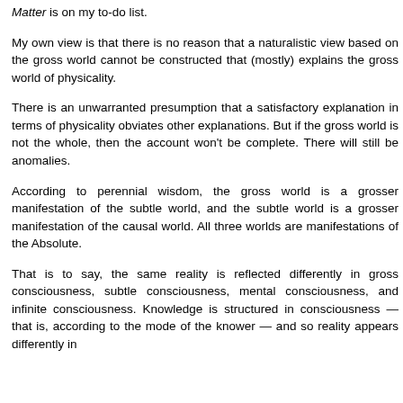Matter is on my to-do list.
My own view is that there is no reason that a naturalistic view based on the gross world cannot be constructed that (mostly) explains the gross world of physicality.
There is an unwarranted presumption that a satisfactory explanation in terms of physicality obviates other explanations. But if the gross world is not the whole, then the account won't be complete. There will still be anomalies.
According to perennial wisdom, the gross world is a grosser manifestation of the subtle world, and the subtle world is a grosser manifestation of the causal world. All three worlds are manifestations of the Absolute.
That is to say, the same reality is reflected differently in gross consciousness, subtle consciousness, mental consciousness, and infinite consciousness. Knowledge is structured in consciousness — that is, according to the mode of the knower — and so reality appears differently in